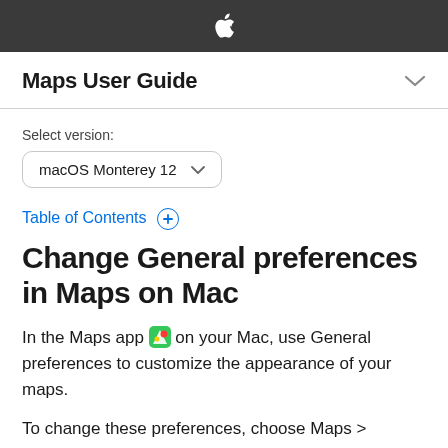Apple (logo)
Maps User Guide
Select version:
macOS Monterey 12
Table of Contents +
Change General preferences in Maps on Mac
In the Maps app on your Mac, use General preferences to customize the appearance of your maps.
To change these preferences, choose Maps >